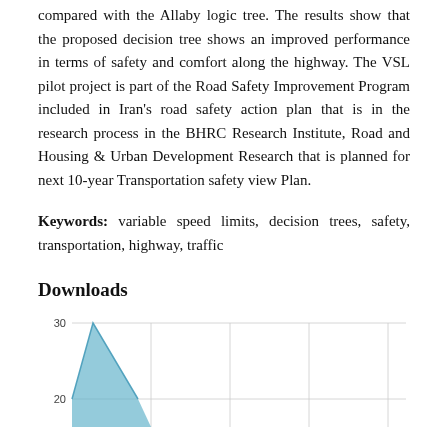compared with the Allaby logic tree. The results show that the proposed decision tree shows an improved performance in terms of safety and comfort along the highway. The VSL pilot project is part of the Road Safety Improvement Program included in Iran's road safety action plan that is in the research process in the BHRC Research Institute, Road and Housing & Urban Development Research that is planned for next 10-year Transportation safety view Plan.
Keywords: variable speed limits, decision trees, safety, transportation, highway, traffic
Downloads
[Figure (area-chart): Area chart showing downloads over time, with a peak around 30 and declining to approximately 20 visible in the cropped view.]